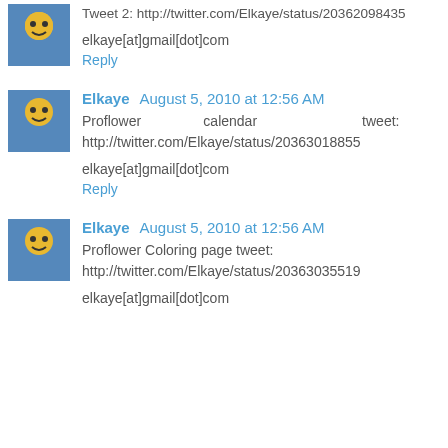Tweet 2: http://twitter.com/Elkaye/status/20362098435
elkaye[at]gmail[dot]com
Reply
Elkaye  August 5, 2010 at 12:56 AM
Proflower calendar tweet: http://twitter.com/Elkaye/status/20363018855
elkaye[at]gmail[dot]com
Reply
Elkaye  August 5, 2010 at 12:56 AM
Proflower Coloring page tweet: http://twitter.com/Elkaye/status/20363035519
elkaye[at]gmail[dot]com